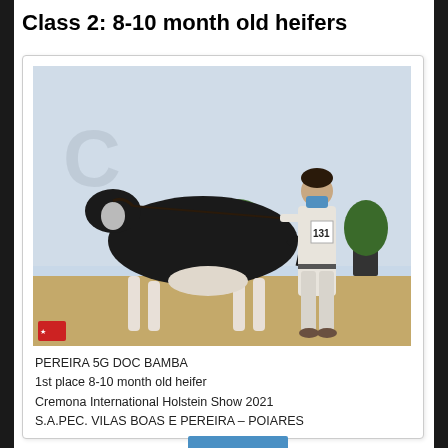Class 2: 8-10 month old heifers
[Figure (photo): A Holstein heifer (black and white coloring) being held and presented by a man wearing white clothing and a blue face mask, at what appears to be an indoor livestock show. The animal faces right, the handler holds the halter. Number 31 is visible on the handler's badge. Background shows a banner and green plants.]
PEREIRA 5G DOC BAMBA
1st place 8-10 month old heifer
Cremona International Holstein Show 2021
S.A.PEC. VILAS BOAS E PEREIRA – POIARES